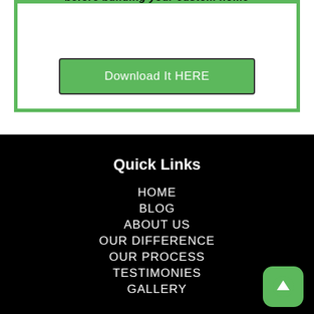before building your custom home
Download It HERE
Quick Links
HOME
BLOG
ABOUT US
OUR DIFFERENCE
OUR PROCESS
TESTIMONIES
GALLERY